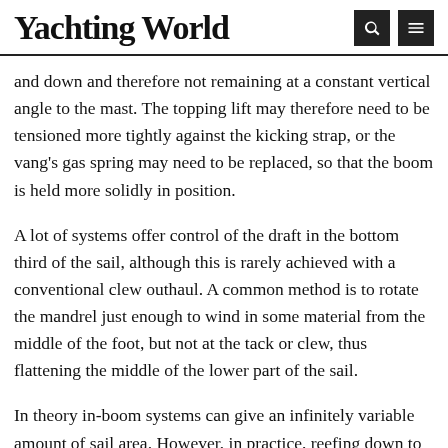Yachting World
and down and therefore not remaining at a constant vertical angle to the mast. The topping lift may therefore need to be tensioned more tightly against the kicking strap, or the vang's gas spring may need to be replaced, so that the boom is held more solidly in position.
A lot of systems offer control of the draft in the bottom third of the sail, although this is rarely achieved with a conventional clew outhaul. A common method is to rotate the mandrel just enough to wind in some material from the middle of the foot, but not at the tack or clew, thus flattening the middle of the lower part of the sail.
In theory in-boom systems can give an infinitely variable amount of sail area. However, in practice, reefing down to each batten position gives a better shape for a sail with full...